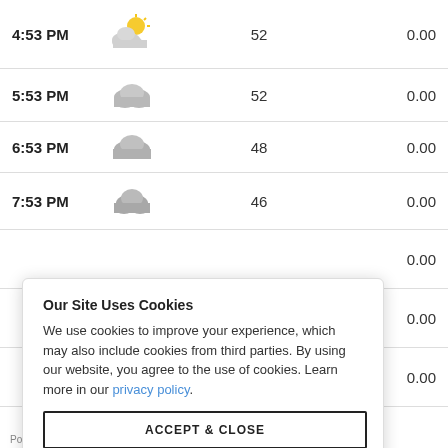| Time | Condition | Temp | Precip |
| --- | --- | --- | --- |
| 4:53 PM | [partly cloudy icon] | 52 | 0.00 |
| 5:53 PM | [cloudy icon] | 52 | 0.00 |
| 6:53 PM | [cloudy icon] | 48 | 0.00 |
| 7:53 PM | [cloudy icon] | 46 | 0.00 |
|  |  |  | 0.00 |
|  |  |  | 0.00 |
|  |  |  | 0.00 |
|  |  |  | 0.00 |
Our Site Uses Cookies
We use cookies to improve your experience, which may also include cookies from third parties. By using our website, you agree to the use of cookies. Learn more in our privacy policy.
ACCEPT & CLOSE